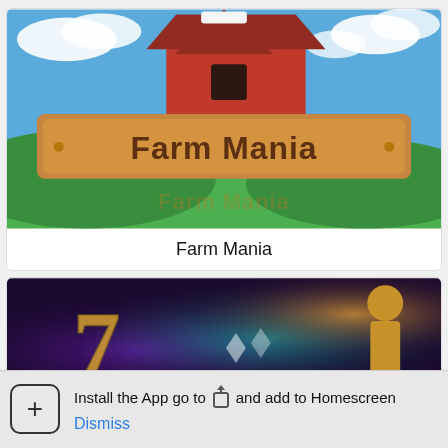[Figure (screenshot): Farm Mania game app screenshot showing colorful farm scene with red barn, green fields, and wooden banner reading Farm Mania]
Farm Mania
[Figure (screenshot): Second app card showing a dark colorful game screenshot with stylized number 7 and colorful lights]
[Figure (screenshot): Green navigation bar with circular icons]
Install the App go to  and add to Homescreen
Dismiss